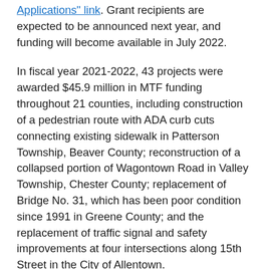Applications" link. Grant recipients are expected to be announced next year, and funding will become available in July 2022.
In fiscal year 2021-2022, 43 projects were awarded $45.9 million in MTF funding throughout 21 counties, including construction of a pedestrian route with ADA curb cuts connecting existing sidewalk in Patterson Township, Beaver County; reconstruction of a collapsed portion of Wagontown Road in Valley Township, Chester County; replacement of Bridge No. 31, which has been poor condition since 1991 in Greene County; and the replacement of traffic signal and safety improvements at four intersections along 15th Street in the City of Allentown.
Act 89 of 2013 established a dedicated Multimodal Transportation Fund that stabilizes funding for ports and rail freight, increases aviation investments, establishes dedicated funding for bicycle and pedestrian improvements, and allows targeted funding for priority investments in any mode.